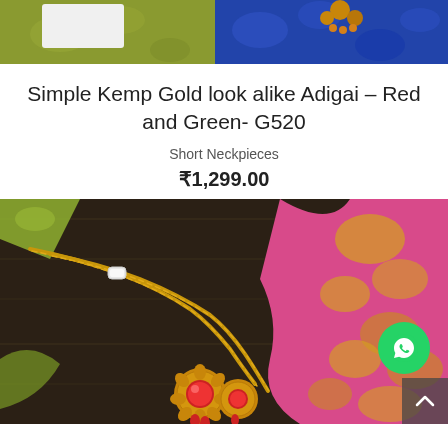[Figure (photo): Top portion of a jewelry product listing image showing colorful fabric background with yellow and blue silk cloths and jewelry pieces]
Simple Kemp Gold look alike Adigai – Red and Green- G520
Short Neckpieces
₹1,299.00
[Figure (photo): Gold necklace with red kemp stones placed on dark wooden surface with bright pink silk saree fabric in background. WhatsApp contact button and scroll-to-top arrow also visible.]